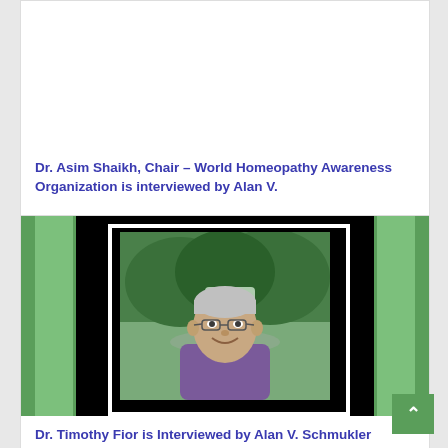Dr. Asim Shaikh,  Chair – World Homeopathy Awareness Organization is interviewed by Alan V.
[Figure (photo): Interview thumbnail image showing a man in a purple shirt smiling, with a green and black decorative border frame]
Dr. Timothy Fior is Interviewed by Alan V. Schmukler